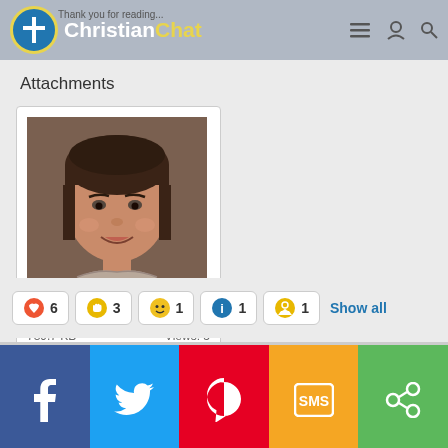ChristianChat - Thank you for reading
Attachments
[Figure (photo): Photo of a woman smiling, attached as AirBrush_2021080... 789.7 KB, Views: 5]
AirBrush_2021080...
789.7 KB    Views: 5
❤ 6  👍 3  😀 1  ℹ 1  🏅 1  Show all
Facebook  Twitter  Pinterest  SMS  Share